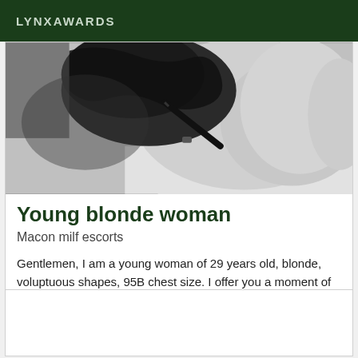LYNXAWARDS
[Figure (photo): Black and white photograph of a woman in black lingerie lying on white bedding, partial view]
Young blonde woman
Macon milf escorts
Gentlemen, I am a young woman of 29 years old, blonde, voluptuous shapes, 95B chest size. I offer you a moment of relaxation in my company. For more information, please contact me.